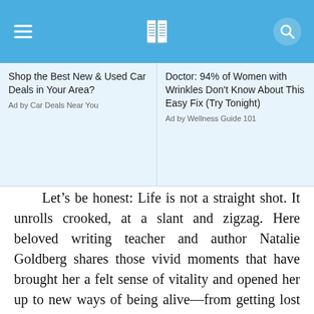Shop the Best New & Used Car Deals in Your Area?
Ad by Car Deals Near You
Doctor: 94% of Women with Wrinkles Don't Know About This Easy Fix (Try Tonight)
Ad by Wellness Guide 101
Let’s be honest: Life is not a straight shot. It unrolls crooked, at a slant and zigzag. Here beloved writing teacher and author Natalie Goldberg shares those vivid moments that have brought her a felt sense of vitality and opened her up to new ways of being alive—from getting lost in the arid wilderness of New Mexico to playing ball with her father as a child on Long Island, reflecting on the dusty beginnings of Zen in the Midwest, and receiving the shocking blow of a bad health diagnosis. Deep down in her